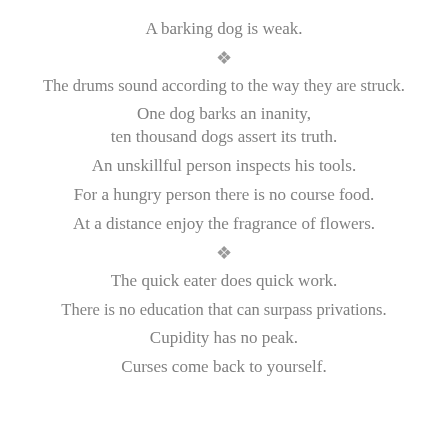A barking dog is weak.
❖
The drums sound according to the way they are struck.
One dog barks an inanity,
ten thousand dogs assert its truth.
An unskillful person inspects his tools.
For a hungry person there is no course food.
At a distance enjoy the fragrance of flowers.
❖
The quick eater does quick work.
There is no education that can surpass privations.
Cupidity has no peak.
Curses come back to yourself.